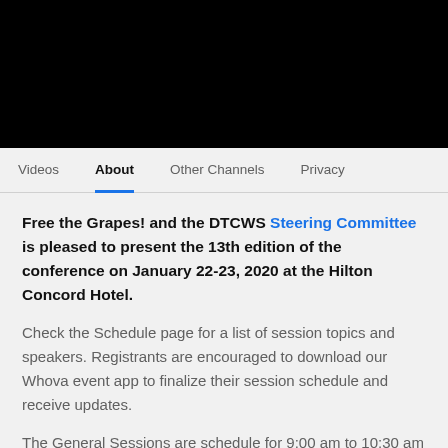Videos | About | Other Channels | Privacy
Free the Grapes! and the DTCWS Steering Committee is pleased to present the 13th edition of the conference on January 22-23, 2020 at the Hilton Concord Hotel.
Check the Schedule page for a list of session topics and speakers. Registrants are encouraged to download our Whova event app to finalize their session schedule and receive updates.
The General Sessions are schedule for 9:00 am to 10:30 am on both days.